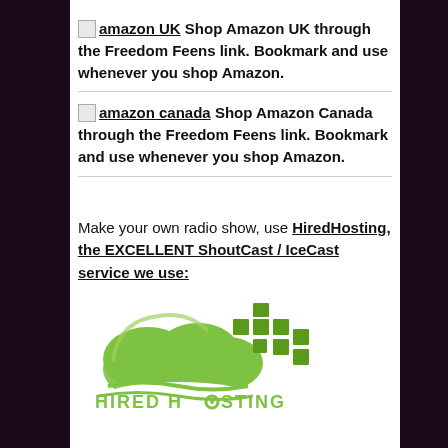[amazon UK] Shop Amazon UK through the Freedom Feens link. Bookmark and use whenever you shop Amazon.
[amazon canada] Shop Amazon Canada through the Freedom Feens link. Bookmark and use whenever you shop Amazon.
Make your own radio show, use HiredHosting, the EXCELLENT ShoutCast / IceCast service we use:
[Figure (logo): Hired Hosting logo — green cloud with pixelated squares and the text HIRED HOSTING beneath]